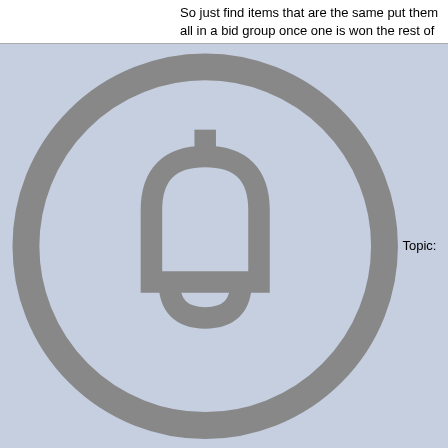So just find items that are the same put them all in a bid group once one is won the rest of the items ...
Topic: Add to Gixen extension fetches the wrong item number ?
Autosnipe
Replies: 5
Views: 9233
Forum: Support  Posted: Wed Nov 07, 2018 12:19 pm  Subject: Add to Gixen extension fetches the wrong item number ?
This Bug has been fixed with autosnipe version Firefox: 1.5.1 Chrome: 2018.11.07.1

Keith
Topic: Gixen Autosnipe (Firefox/Chrome/Safari)
Autosnipe
Replies: 57
Views: 109544
Forum: Announcements  Posted: Wed Nov 07, 2018 12:18 pm  Subject: Gixen Autosnipe (Firefox/Chrome/Safari)
Gixen eBay Sniper Autosnipe (Firefox) Updated

Fixed bug reported by Guigui [url=https://www.gixen.com/forum/viewtopic.php?t=9110]see here

Keith
Topic: Autosnipe Chrome Support
Autosnipe
Replies: 31
Views: 48643
Forum: Announcements  Posted: Wed Nov 07, 2018 11:43 am  Subject: Autosnipe Chrome Support
Gixen eBay Sniper Autosnipe (Chrome) Updated

Fixed bug reported by Guigui [url=https://www.gixen.com/forum/viewtopic.php?t=9110]see here

Keith
Topic: ...